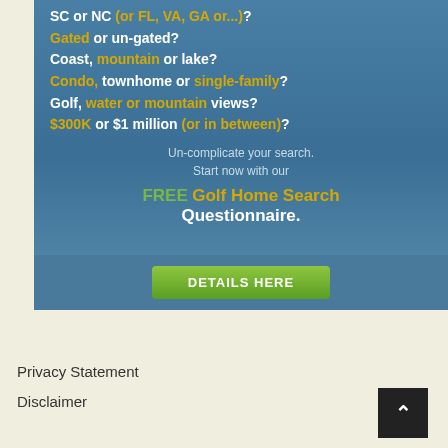[Figure (infographic): Golf home search advertisement banner with text lines about location options (SC or NC, Gated or un-gated, Coast mountain or lake, Condo townhome or single-family, Golf water or mountain views, $300K or $1 million), subtext about un-complicating search, FREE Golf Home Search Questionnaire text, and green DETAILS HERE button]
Privacy Statement
Disclaimer